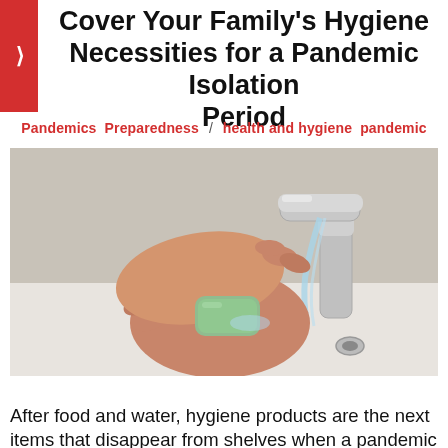Cover Your Family's Hygiene Necessities for a Pandemic Isolation Period
Pandemics  Preparedness  /  health and hygiene  pandemic
[Figure (photo): Hands washing with a green bar of soap under running water from a chrome faucet over a white sink]
After food and water, hygiene products are the next items that disappear from shelves when a pandemic strikes. So your odds of